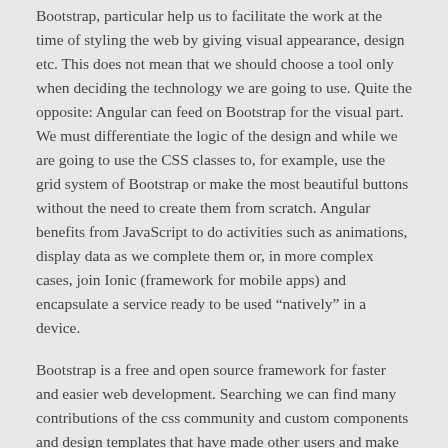Bootstrap, particular help us to facilitate the work at the time of styling the web by giving visual appearance, design etc. This does not mean that we should choose a tool only when deciding the technology we are going to use. Quite the opposite: Angular can feed on Bootstrap for the visual part. We must differentiate the logic of the design and while we are going to use the CSS classes to, for example, use the grid system of Bootstrap or make the most beautiful buttons without the need to create them from scratch. Angular benefits from JavaScript to do activities such as animations, display data as we complete them or, in more complex cases, join Ionic (framework for mobile apps) and encapsulate a service ready to be used “natively” in a device.
Bootstrap is a free and open source framework for faster and easier web development. Searching we can find many contributions of the css community and custom components and design templates that have made other users and make them available, there are many components to create navigation bars, windows and popup manners, image carousels, menus and many other, as well as